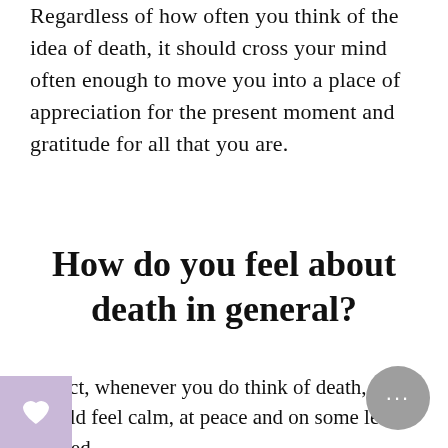Regardless of how often you think of the idea of death, it should cross your mind often enough to move you into a place of appreciation for the present moment and gratitude for all that you are.
How do you feel about death in general?
In fact, whenever you do think of death, you should feel calm, at peace and on some level, excited